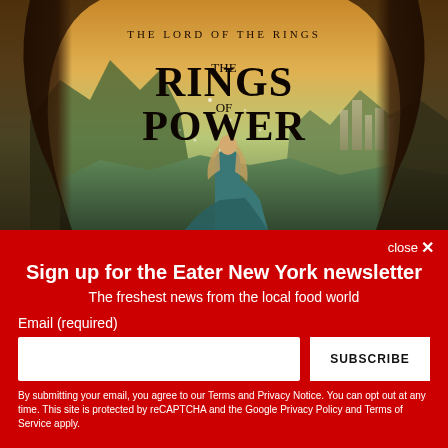[Figure (photo): Promotional image for 'The Lord of the Rings: The Rings of Power' Amazon Prime Video series. Shows a woman in a teal/green gown standing in a fantasy landscape viewed through an archway, with mountainous terrain and a glowing sky behind her. The title 'THE LORD OF THE RINGS / THE RINGS OF POWER' is overlaid at the top.]
THE LORD OF THE RINGS
THE RINGS OF POWER
close ✕
Sign up for the Eater New York newsletter
The freshest news from the local food world
Email (required)
SUBSCRIBE
By submitting your email, you agree to our Terms and Privacy Notice. You can opt out at any time. This site is protected by reCAPTCHA and the Google Privacy Policy and Terms of Service apply.